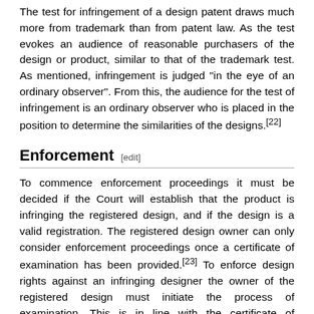The test for infringement of a design patent draws much more from trademark than from patent law. As the test evokes an audience of reasonable purchasers of the design or product, similar to that of the trademark test. As mentioned, infringement is judged "in the eye of an ordinary observer". From this, the audience for the test of infringement is an ordinary observer who is placed in the position to determine the similarities of the designs.[22]
Enforcement [edit]
To commence enforcement proceedings it must be decided if the Court will establish that the product is infringing the registered design, and if the design is a valid registration. The registered design owner can only consider enforcement proceedings once a certificate of examination has been provided.[23] To enforce design rights against an infringing designer the owner of the registered design must initiate the process of examination. This is in line with the certificate of examination. A design Registrar will not grant a certificate of examination of the design is found to be invalid as there is no newness or distinctiveness to the